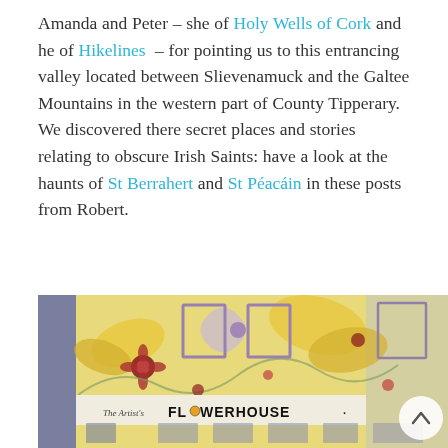Amanda and Peter – she of Holy Wells of Cork and he of Hikelines – for pointing us to this entrancing valley located between Slievenamuck and the Galtee Mountains in the western part of County Tipperary. We discovered there secret places and stories relating to obscure Irish Saints: have a look at the haunts of St Berrahert and St Péacáin in these posts from Robert.
[Figure (photo): Photograph of a building facade decorated with a large colourful floral mosaic mural. A sign reads 'The Artist's FLOWERHOUSE'. The building has purple-framed windows and the mural features butterflies, flowers and swirling patterns in yellow, red, white and purple.]